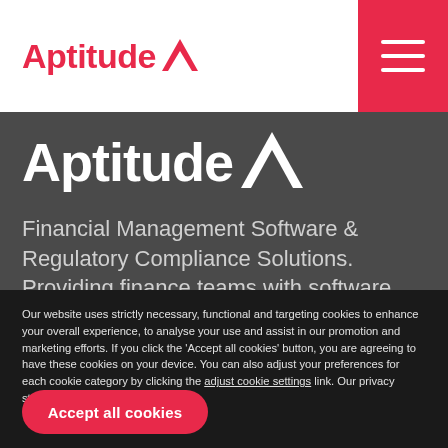Aptitude
[Figure (logo): Aptitude logo with red triangle symbol on white header bar with hamburger menu icon on red background]
Financial Management Software & Regulatory Compliance Solutions. Providing finance teams with software solutions to run their businesses, forecast the outcomes of their decisions and comply with complex
Our website uses strictly necessary, functional and targeting cookies to enhance your overall experience, to analyse your use and assist in our promotion and marketing efforts. If you click the 'Accept all cookies' button, you are agreeing to have these cookies on your device. You can also adjust your preferences for each cookie category by clicking the adjust cookie settings link. Our privacy statement is available here.
Accept all cookies